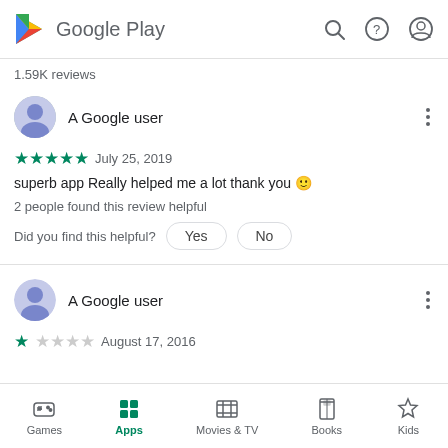Google Play
1.59K reviews
A Google user
★★★★★ July 25, 2019
superb app Really helped me a lot thank you 😊
2 people found this review helpful
Did you find this helpful?  Yes  No
A Google user
★ August 17, 2016
Games  Apps  Movies & TV  Books  Kids